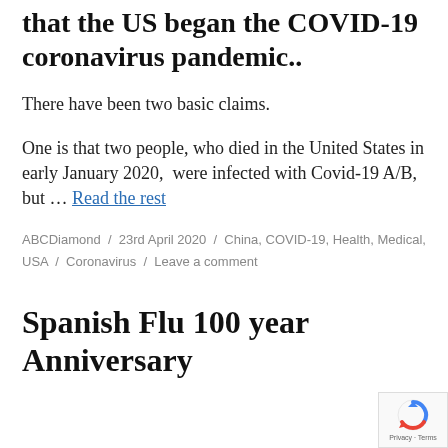that the US began the COVID-19 coronavirus pandemic..
There have been two basic claims.
One is that two people, who died in the United States in early January 2020,  were infected with Covid-19 A/B, but … Read the rest
ABCDiamond / 23rd April 2020 / China, COVID-19, Health, Medical, USA / Coronavirus / Leave a comment
Spanish Flu 100 year Anniversary